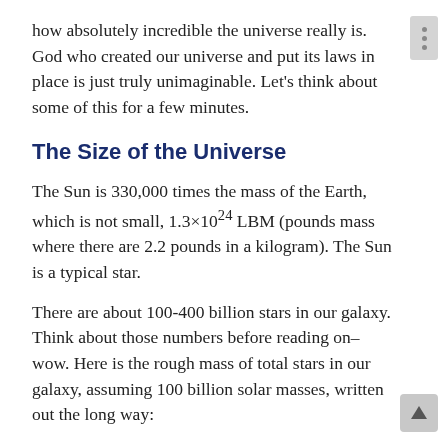how absolutely incredible the universe really is. God who created our universe and put its laws in place is just truly unimaginable. Let's think about some of this for a few minutes.
The Size of the Universe
The Sun is 330,000 times the mass of the Earth, which is not small, 1.3×10^24 LBM (pounds mass where there are 2.2 pounds in a kilogram). The Sun is a typical star.
There are about 100-400 billion stars in our galaxy. Think about those numbers before reading on–wow. Here is the rough mass of total stars in our galaxy, assuming 100 billion solar masses, written out the long way: